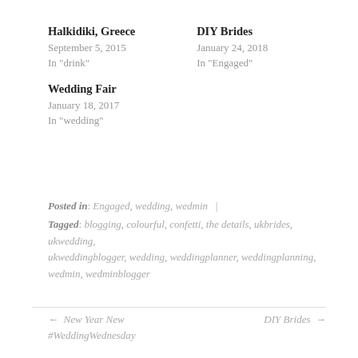Halkidiki, Greece
September 5, 2015
In "drink"
DIY Brides
January 24, 2018
In "Engaged"
Wedding Fair
January 18, 2017
In "wedding"
Posted in: Engaged, wedding, wedmin |
Tagged: blogging, colourful, confetti, the details, ukbrides, ukwedding, ukweddingblogger, wedding, weddingplanner, weddingplanning, wedmin, wedminblogger
← New Year New #WeddingWednesday
DIY Brides →